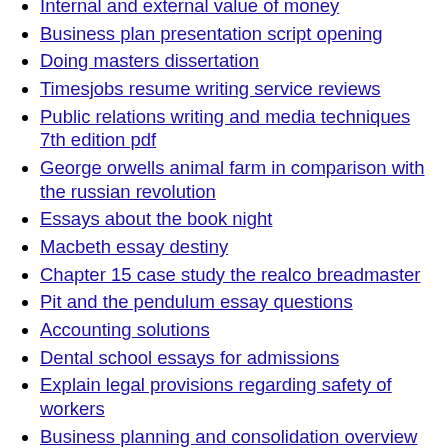Internal and external value of money
Business plan presentation script opening
Doing masters dissertation
Timesjobs resume writing service reviews
Public relations writing and media techniques 7th edition pdf
George orwells animal farm in comparison with the russian revolution
Essays about the book night
Macbeth essay destiny
Chapter 15 case study the realco breadmaster
Pit and the pendulum essay questions
Accounting solutions
Dental school essays for admissions
Explain legal provisions regarding safety of workers
Business planning and consolidation overview
Manatees manatee and warm water